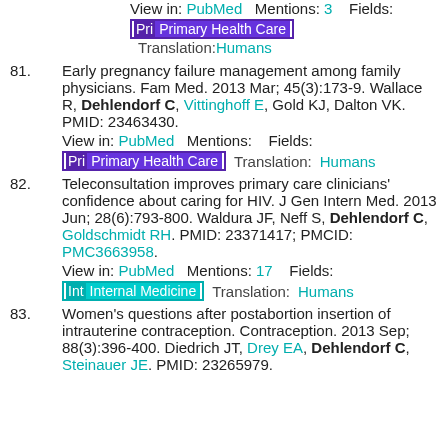View in: PubMed   Mentions: 3   Fields:
Pri Primary Health Care   Translation:Humans
81. Early pregnancy failure management among family physicians. Fam Med. 2013 Mar; 45(3):173-9. Wallace R, Dehlendorf C, Vittinghoff E, Gold KJ, Dalton VK. PMID: 23463430.
View in: PubMed   Mentions:    Fields:
Pri Primary Health Care   Translation:Humans
82. Teleconsultation improves primary care clinicians' confidence about caring for HIV. J Gen Intern Med. 2013 Jun; 28(6):793-800. Waldura JF, Neff S, Dehlendorf C, Goldschmidt RH. PMID: 23371417; PMCID: PMC3663958.
View in: PubMed   Mentions: 17   Fields:
Int Internal Medicine   Translation:Humans
83. Women's questions after postabortion insertion of intrauterine contraception. Contraception. 2013 Sep; 88(3):396-400. Diedrich JT, Drey EA, Dehlendorf C, Steinauer JE. PMID: 23265979.